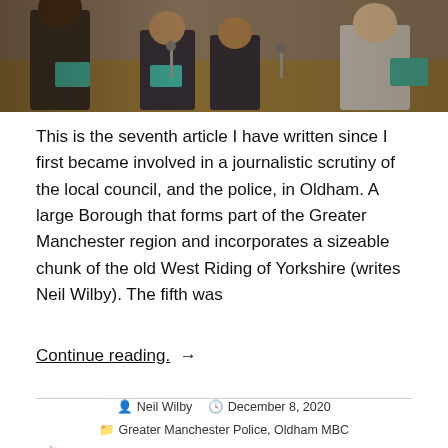[Figure (photo): Photograph of people seated in a council chamber, showing individuals in formal attire with papers and microphones visible.]
This is the seventh article I have written since I first became involved in a journalistic scrutiny of the local council, and the police, in Oldham. A large Borough that forms part of the Greater Manchester region and incorporates a sizeable chunk of the old West Riding of Yorkshire (writes Neil Wilby). The fifth was
Continue reading. →
Neil Wilby   December 8, 2020
Greater Manchester Police, Oldham MBC
Arooj Shah, Brian Hobin, Cllr Arooj Shah, Cllr Sean Fielding, Debbie Barratt-Cole, Dr Mark Peel, Failsworth Independent Party, Gail Hadfield Grainger, Gary Ridgway, GMP, Greater Manchester Police, Jackie Stanton, Jane Barker, John Hudson, Kath Wilkinson,